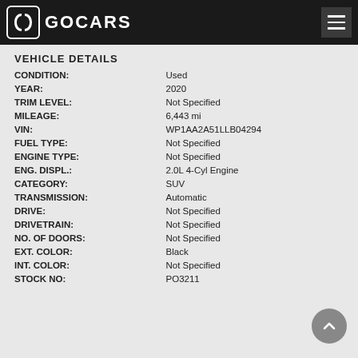GOCARS
VEHICLE DETAILS
| Field | Value |
| --- | --- |
| CONDITION: | Used |
| YEAR: | 2020 |
| TRIM LEVEL: | Not Specified |
| MILEAGE: | 6,443 mi |
| VIN: | WP1AA2A51LLB04294 |
| FUEL TYPE: | Not Specified |
| ENGINE TYPE: | Not Specified |
| ENG. DISPL.: | 2.0L 4-Cyl Engine |
| CATEGORY: | SUV |
| TRANSMISSION: | Automatic |
| DRIVE: | Not Specified |
| DRIVETRAIN: | Not Specified |
| NO. OF DOORS: | Not Specified |
| EXT. COLOR: | Black |
| INT. COLOR: | Not Specified |
| STOCK NO: | PO3211 |